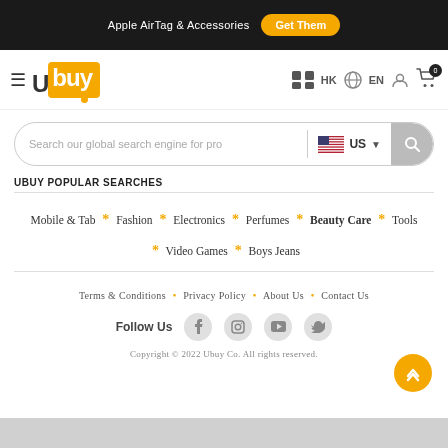Apple AirTag & Accessories  Get Them
[Figure (logo): Ubuy logo with hamburger menu, HK country selector, EN language, user icon, cart icon with badge 0]
[Figure (screenshot): Search bar with placeholder 'Search our global search engine for pro', US flag country selector, and search button]
UBUY POPULAR SEARCHES
Mobile & Tab * Fashion * Electronics * Perfumes * Beauty Care * Tools * Video Games * Boys Jeans
Terms & Conditions • Privacy Policy • About Us • Contact Us
Follow Us
Copyright © 2022 Ubuy Co. All rights reserved.